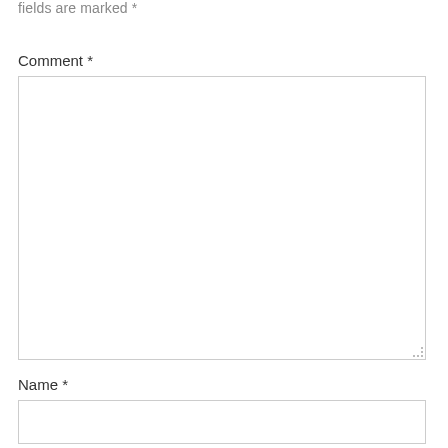fields are marked *
Comment *
Name *